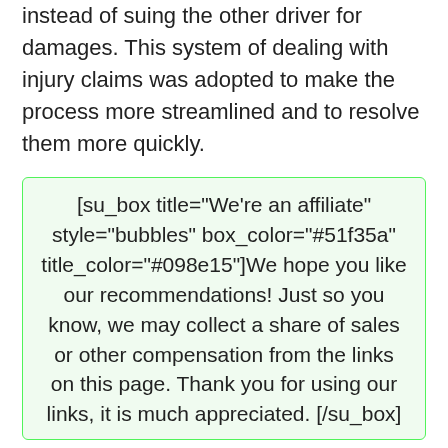instead of suing the other driver for damages. This system of dealing with injury claims was adopted to make the process more streamlined and to resolve them more quickly.
[su_box title="We're an affiliate" style="bubbles" box_color="#51f35a" title_color="#098e15"]We hope you like our recommendations! Just so you know, we may collect a share of sales or other compensation from the links on this page. Thank you for using our links, it is much appreciated. [/su_box]
Simply because Michigan has adopted a no-fault system for car insurance, it doesn't mean that all claims for damages are settled outside of the judicial system. If a claim for damages is serious enough to meet the threshold set by the state, the